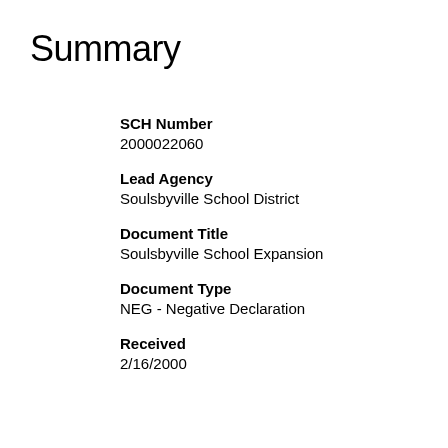Summary
SCH Number
2000022060
Lead Agency
Soulsbyville School District
Document Title
Soulsbyville School Expansion
Document Type
NEG - Negative Declaration
Received
2/16/2000